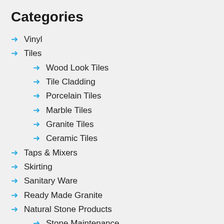Categories
Vinyl
Tiles
Wood Look Tiles
Tile Cladding
Porcelain Tiles
Marble Tiles
Granite Tiles
Ceramic Tiles
Taps & Mixers
Skirting
Sanitary Ware
Ready Made Granite
Natural Stone Products
Stone Maintenance
Sealer